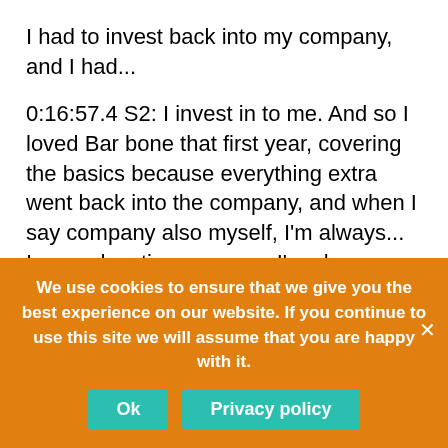I had to invest back into my company, and I had...
0:16:57.4 S2: I invest in to me. And so I loved Bar bone that first year, covering the basics because everything extra went back into the company, and when I say company also myself, I'm always... In an education program, I'm always working on myself because then I can help others work on them, I also didn't get overly attached to my business model, my business model today looks nothing like what I thought it would look like, I... Thank goodness, it's five times bigger than I ever thought it would be in four years, but that's because I didn't get attached to it, I allowed it to evolve and I allowed myself
We use cookies to ensure that we give you the best experience on our website. If you continue to use this site we will assume that you are happy with it.
Ok
Privacy policy